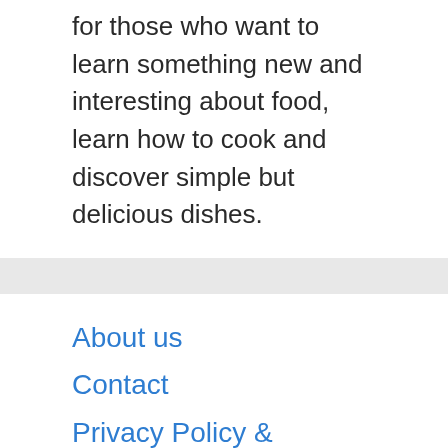for those who want to learn something new and interesting about food, learn how to cook and discover simple but delicious dishes.
About us
Contact
Privacy Policy & Cookies
ATTENTION TO RIGHT HOLDERS! All materials are posted on the site strictly for informational and educational purposes! If you believe that the posting of any material infringes your copyright, be sure to contact us through the contact form and your